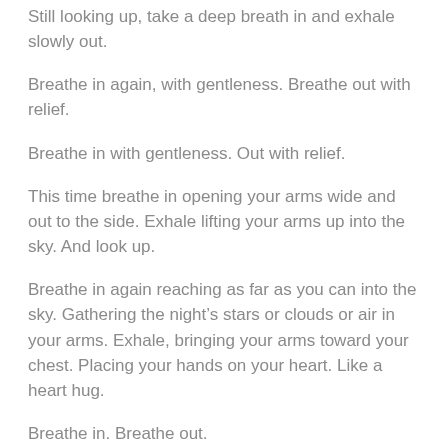Still looking up, take a deep breath in and exhale slowly out.
Breathe in again, with gentleness. Breathe out with relief.
Breathe in with gentleness. Out with relief.
This time breathe in opening your arms wide and out to the side. Exhale lifting your arms up into the sky. And look up.
Breathe in again reaching as far as you can into the sky. Gathering the night’s stars or clouds or air in your arms. Exhale, bringing your arms toward your chest. Placing your hands on your heart. Like a heart hug.
Breathe in. Breathe out.
Breathe in again. This time reaching your arms into the night sky. Gathering stars or clouds or air. Exhale bringing your arms